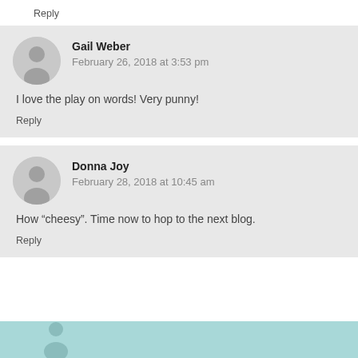Reply
Gail Weber
February 26, 2018 at 3:53 pm
I love the play on words! Very punny!
Reply
Donna Joy
February 28, 2018 at 10:45 am
How “cheesy”. Time now to hop to the next blog.
Reply